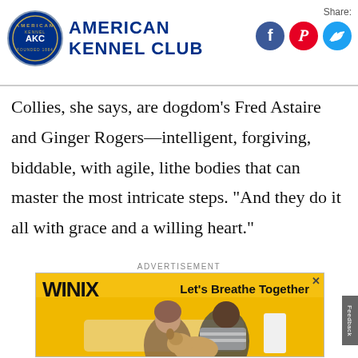American Kennel Club
Collies, she says, are dogdom’s Fred Astaire and Ginger Rogers—intelligent, forgiving, biddable, with agile, lithe bodies that can master the most intricate steps. “And they do it all with grace and a willing heart.”
ADVERTISEMENT
[Figure (photo): Winix advertisement banner showing two people and a dog on a yellow background with the tagline 'Let's Breathe Together'. Winix Air Purifiers | Humidifiers branding shown.]